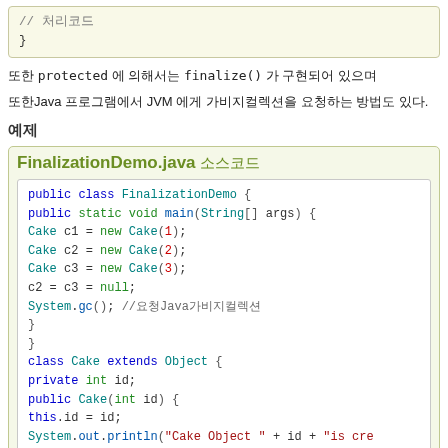[Figure (screenshot): Code snippet showing comment and closing brace: // 처리코드 and }]
또한 protected 에 의해서는 finalize() 가 구현되어 있으며
또한Java 프로그램에서 JVM 에게 가비지컬렉션을 요청하는 방법도 있다.
예제
[Figure (screenshot): FinalizationDemo.java 소스코드 - Java code showing FinalizationDemo class with main method creating Cake objects, setting null, calling System.gc(), and Cake class definition]
FinalizationDemo.java 소스코드